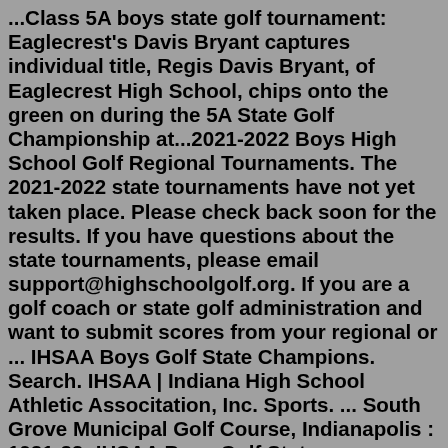...Class 5A boys state golf tournament: Eaglecrest's Davis Bryant captures individual title, Regis Davis Bryant, of Eaglecrest High School, chips onto the green on during the 5A State Golf Championship at...2021-2022 Boys High School Golf Regional Tournaments. The 2021-2022 state tournaments have not yet taken place. Please check back soon for the results. If you have questions about the state tournaments, please email support@highschoolgolf.org. If you are a golf coach or state golf administration and want to submit scores from your regional or ... IHSAA Boys Golf State Champions. Search. IHSAA | Indiana High School Athletic Associtation, Inc. Sports. ... South Grove Municipal Golf Course, Indianapolis : 1931-32: IHSAA Boys Golf State Champions. Search. IHSAA | Indiana High School Athletic Associtation, Inc. Sports. ... South Grove Municipal Golf Course, Indianapolis : 1931-32: Cassie Psuik, Greenfield. The Loyola (Ill.) commit became the first girl to qualify for the WIAA Division 1 state boys golf tournament